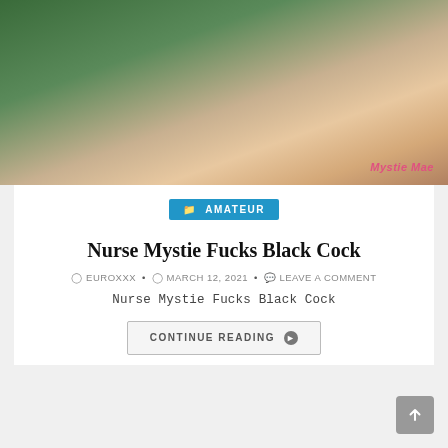[Figure (photo): A photograph with a pink-clad figure and dark-skinned figure, with watermark 'Mystie Mae' in bottom right corner, set against a green background]
AMATEUR
Nurse Mystie Fucks Black Cock
EUROXXX • MARCH 12, 2021 • LEAVE A COMMENT
Nurse Mystie Fucks Black Cock
CONTINUE READING